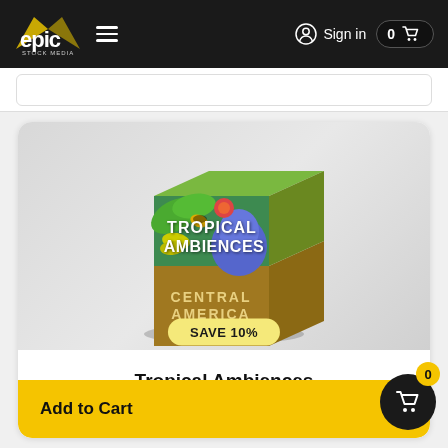Epic Stock Media — Sign in — Cart 0
[Figure (screenshot): Product box for Tropical Ambiences – Central America, showing a cardboard box with tropical illustration (parrot, bananas, tropical flowers) and text overlaid 'TROPICAL AMBIENCES' and 'CENTRAL AMERICA' on the box side.]
SAVE 10%
Tropical Ambiences
$62 $69
Add to Cart